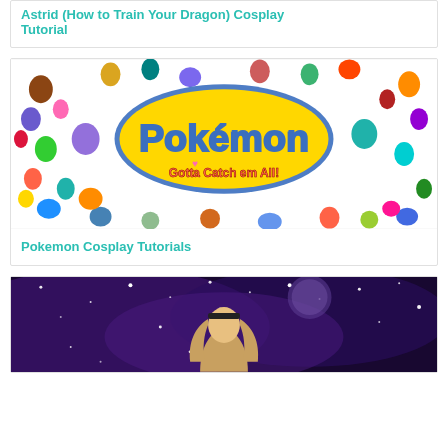Astrid (How to Train Your Dragon) Cosplay Tutorial
[Figure (photo): Pokemon 'Gotta Catch em All' promotional image showing hundreds of Pokemon characters surrounding the Pokemon logo on a white background]
Pokemon Cosplay Tutorials
[Figure (photo): Galaxy/space themed image with purple starry background and a person with long blonde hair wearing a dark headband]